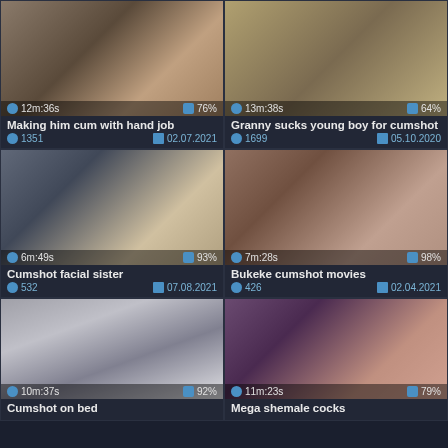[Figure (screenshot): Video thumbnail for 'Making him cum with hand job', duration 12m:36s, rating 76%]
Making him cum with hand job
1351 views · 02.07.2021
[Figure (screenshot): Video thumbnail for 'Granny sucks young boy for cumshot', duration 13m:38s, rating 64%]
Granny sucks young boy for cumshot
1699 views · 05.10.2020
[Figure (screenshot): Video thumbnail for 'Cumshot facial sister', duration 6m:49s, rating 93%]
Cumshot facial sister
532 views · 07.08.2021
[Figure (screenshot): Video thumbnail for 'Bukeke cumshot movies', duration 7m:28s, rating 98%]
Bukeke cumshot movies
426 views · 02.04.2021
[Figure (screenshot): Video thumbnail for 'Cumshot on bed', duration 10m:37s, rating 92%]
Cumshot on bed
[Figure (screenshot): Video thumbnail for 'Mega shemale cocks', duration 11m:23s, rating 79%]
Mega shemale cocks